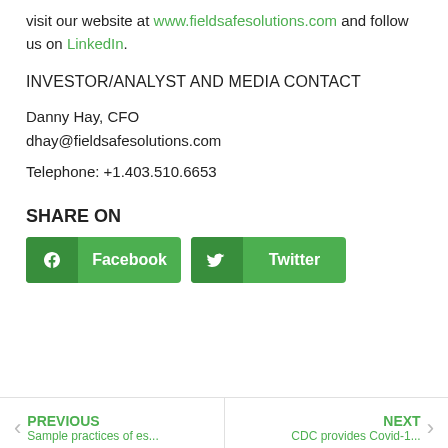visit our website at www.fieldsafesolutions.com and follow us on LinkedIn.
INVESTOR/ANALYST AND MEDIA CONTACT
Danny Hay, CFO
dhay@fieldsafesolutions.com
Telephone: +1.403.510.6653
SHARE ON
[Figure (other): Social share buttons: Facebook and Twitter, green background with icons]
PREVIOUS Sample practices of es... | NEXT CDC provides Covid-1...